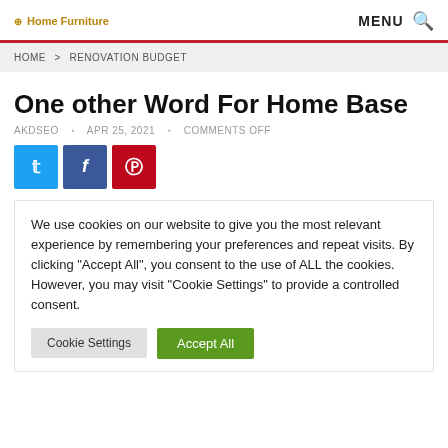Home Furniture   MENU 🔍
HOME > RENOVATION BUDGET
One other Word For Home Base
AKDSEO  •  APR 25, 2021  •  COMMENTS OFF
[Figure (other): Social share buttons: Twitter (blue), Facebook (dark blue), Pinterest (red)]
We use cookies on our website to give you the most relevant experience by remembering your preferences and repeat visits. By clicking "Accept All", you consent to the use of ALL the cookies. However, you may visit "Cookie Settings" to provide a controlled consent.
Cookie Settings   Accept All